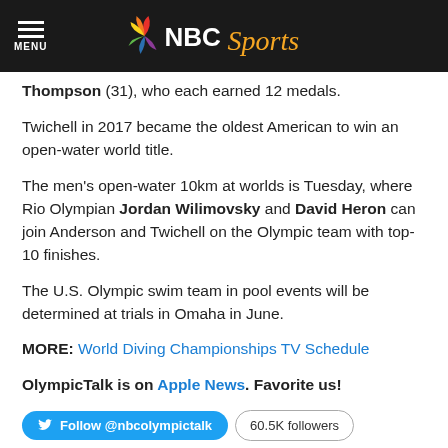NBC Sports
Thompson (31), who each earned 12 medals.
Twichell in 2017 became the oldest American to win an open-water world title.
The men's open-water 10km at worlds is Tuesday, where Rio Olympian Jordan Wilimovsky and David Heron can join Anderson and Twichell on the Olympic team with top-10 finishes.
The U.S. Olympic swim team in pool events will be determined at trials in Omaha in June.
MORE: World Diving Championships TV Schedule
OlympicTalk is on Apple News. Favorite us!
Follow @nbcolympictalk   60.5K followers